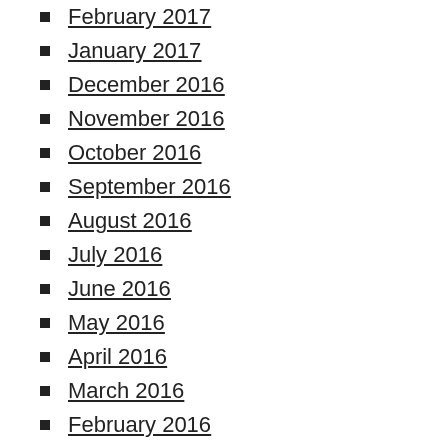February 2017
January 2017
December 2016
November 2016
October 2016
September 2016
August 2016
July 2016
June 2016
May 2016
April 2016
March 2016
February 2016
January 2016